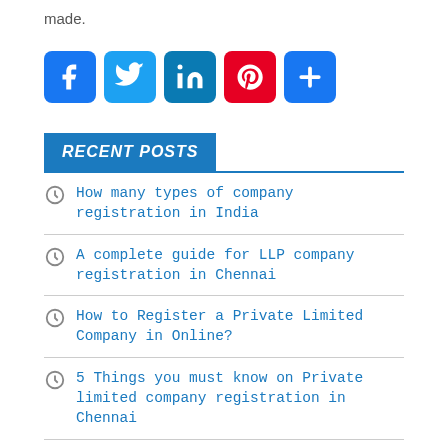made.
[Figure (other): Social media share icons: Facebook, Twitter, LinkedIn, Pinterest, and a More (+) button]
RECENT POSTS
How many types of company registration in India
A complete guide for LLP company registration in Chennai
How to Register a Private Limited Company in Online?
5 Things you must know on Private limited company registration in Chennai
Types of assessment under income tax act | Income tax filing service